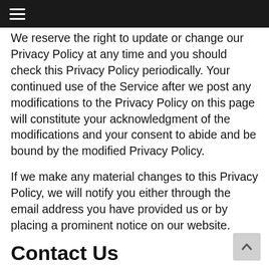≡
We reserve the right to update or change our Privacy Policy at any time and you should check this Privacy Policy periodically. Your continued use of the Service after we post any modifications to the Privacy Policy on this page will constitute your acknowledgment of the modifications and your consent to abide and be bound by the modified Privacy Policy.
If we make any material changes to this Privacy Policy, we will notify you either through the email address you have provided us or by placing a prominent notice on our website.
Contact Us
If you have any questions about this Privacy Policy, please contact us by email at info@24kzone.com.